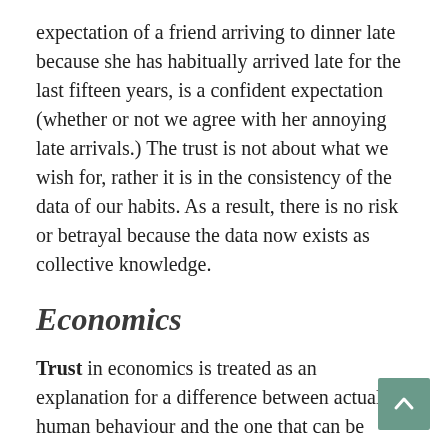expectation of a friend arriving to dinner late because she has habitually arrived late for the last fifteen years, is a confident expectation (whether or not we agree with her annoying late arrivals.) The trust is not about what we wish for, rather it is in the consistency of the data of our habits. As a result, there is no risk or betrayal because the data now exists as collective knowledge.
Economics
Trust in economics is treated as an explanation for a difference between actual human behaviour and the one that can be explained by the individual desire to maximize one's utility. In economic terms, trust can provide an explanation of a difference between Nash equilibrium and the observed equilibrium. Such an approach can be applied to individuals as well as